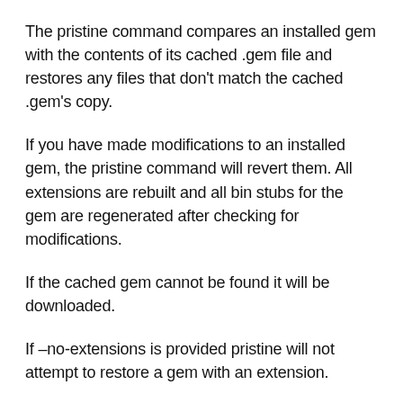The pristine command compares an installed gem with the contents of its cached .gem file and restores any files that don't match the cached .gem's copy.
If you have made modifications to an installed gem, the pristine command will revert them. All extensions are rebuilt and all bin stubs for the gem are regenerated after checking for modifications.
If the cached gem cannot be found it will be downloaded.
If –no-extensions is provided pristine will not attempt to restore a gem with an extension.